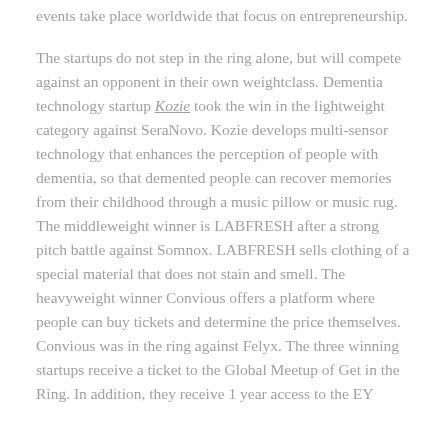events take place worldwide that focus on entrepreneurship.
The startups do not step in the ring alone, but will compete against an opponent in their own weightclass. Dementia technology startup Kozie took the win in the lightweight category against SeraNovo. Kozie develops multi-sensor technology that enhances the perception of people with dementia, so that demented people can recover memories from their childhood through a music pillow or music rug. The middleweight winner is LABFRESH after a strong pitch battle against Somnox. LABFRESH sells clothing of a special material that does not stain and smell. The heavyweight winner Convious offers a platform where people can buy tickets and determine the price themselves. Convious was in the ring against Felyx. The three winning startups receive a ticket to the Global Meetup of Get in the Ring. In addition, they receive 1 year access to the EY